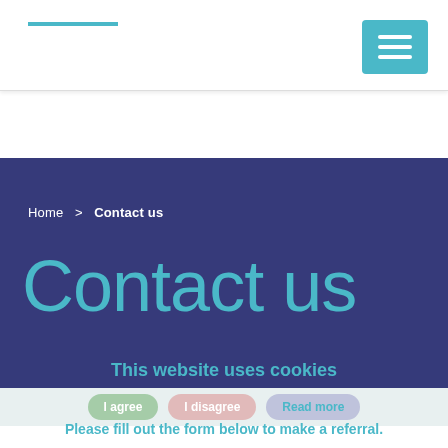[Figure (logo): Logo area with teal horizontal line and hamburger menu button in teal]
Home  >  Contact us
Contact us
This website uses cookies
This website uses cookies to improve your experience. By using our...
I agree   I disagree   Read more
Please fill out the form below to make a referral.